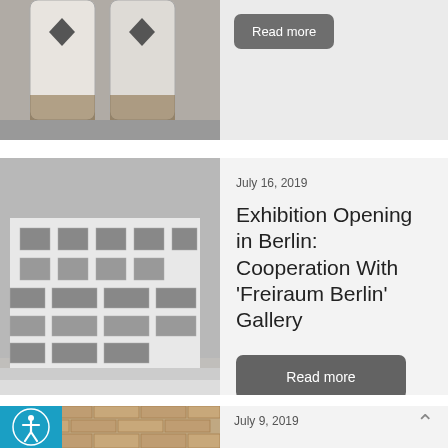[Figure (photo): Partial view of a photo showing architectural structures, cut off at top. Black and white tones with decorative elements.]
[Figure (photo): Black and white photograph of a multi-story modernist building with large windows and shops at street level, bare trees visible.]
July 16, 2019
Exhibition Opening in Berlin: Cooperation With 'Freiraum Berlin' Gallery
Read more
[Figure (photo): Partial view of a brick wall or architectural detail, cut off at bottom.]
July 9, 2019